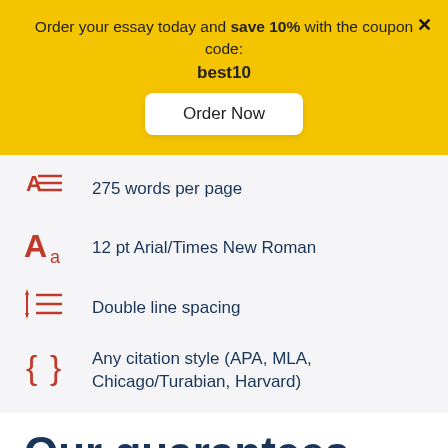Order your essay today and save 10% with the coupon code: best10
Order Now
275 words per page
12 pt Arial/Times New Roman
Double line spacing
Any citation style (APA, MLA, Chicago/Turabian, Harvard)
Our guarantees